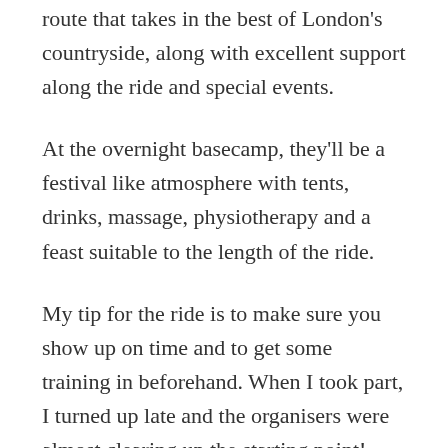route that takes in the best of London's countryside, along with excellent support along the ride and special events.
At the overnight basecamp, they'll be a festival like atmosphere with tents, drinks, massage, physiotherapy and a feast suitable to the length of the ride.
My tip for the ride is to make sure you show up on time and to get some training in beforehand. When I took part, I turned up late and the organisers were almost clearing up the starting point! This meant I had to really get my head down and catch up with everyone else. Also, I really didn't put in